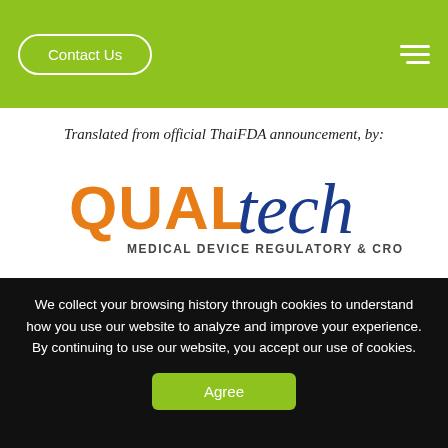Contact Us
Translated from official ThaiFDA announcement, by:
[Figure (logo): QUALtech Medical Device Regulatory & CRO company logo. 'QUAL' in orange, 'tech' in blue italic script, subtitle 'Medical Device Regulatory & CRO' in dark gray small caps.]
Ref...
We collect your browsing history through cookies to understand how you use our website to analyze and improve your experience. By continuing to use our website, you accept our use of cookies.